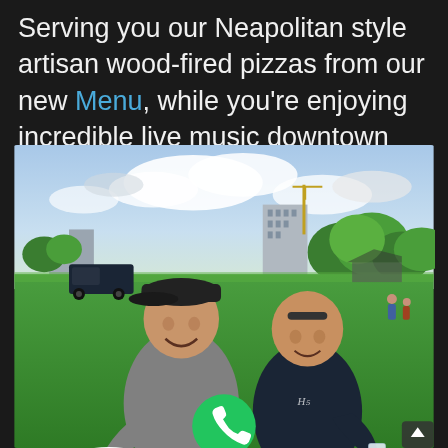Serving you our Neapolitan style artisan wood-fired pizzas from our new Menu, while you're enjoying incredible live music downtown Coeur d'Alene.
[Figure (photo): Two smiling men standing on a green lawn at an outdoor event (likely a music festival) in downtown Coeur d'Alene. The man on the left wears a gray t-shirt and dark baseball cap, holding a slice of pizza on a paper plate. The man on the right wears a dark navy short-sleeved button-up shirt with a logo, holding a drink. Background shows trees, a building under construction, and event tents under a partly cloudy sky.]